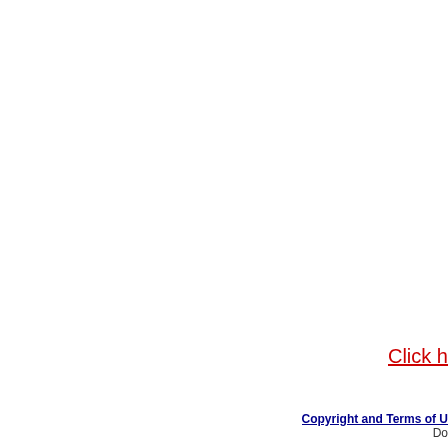Fuji Xerox Co
Filter: Show All | Win | WinXP |
Driver
| Driver |
| --- |
| DocuCentre 251 CF, DocuCentre 251 FS, DocuCentre CF, DocuCentre 351 FS, DocuCentre 400, DocuCentre 401, DocuCentre 401 CF, DocuCentre 401 FS, DocuCentre |
| DocuCentre 402, DocuCentre 450 CP, DocuCentre 4 508 CP, DocuCentre 550 I, DocuCentre 650 I, DocuCentre |
| Able 1251, Able 1350, Able 1351, Able 1405, Able DocuCentre 230 CF, DocuCentre 230 FS, DocuCentre DocuCentre 280 CF, DocuCentre 280 FS, DocuCentre |
| DocuCentre Color 240 CP driver |
| DocuColor 1250 driver |
Click h
Copyright and Terms of U Do